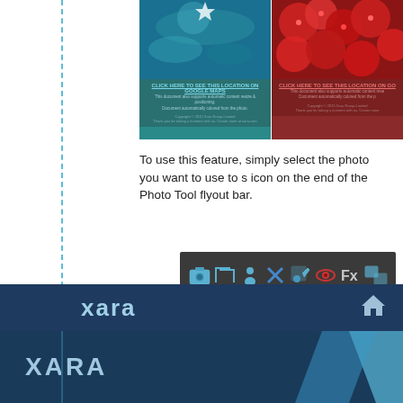[Figure (screenshot): Two screenshot panels showing document templates with underwater/coral photo (teal theme) and red fruit photo (dark red theme), each with 'CLICK HERE TO SEE THIS LOCATION ON GOOGLE MAPS' text and supporting description text.]
To use this feature, simply select the photo you want to use to s icon on the end of the Photo Tool flyout bar.
[Figure (screenshot): Photo Tool flyout bar showing icons for camera, crop, person, X, paint, eye, Fx, and frames on a dark grey background.]
Designer instantly analyses the photo and chooses up to 5 of t colors (very similar shades of the same color are considered as
xara
XARA